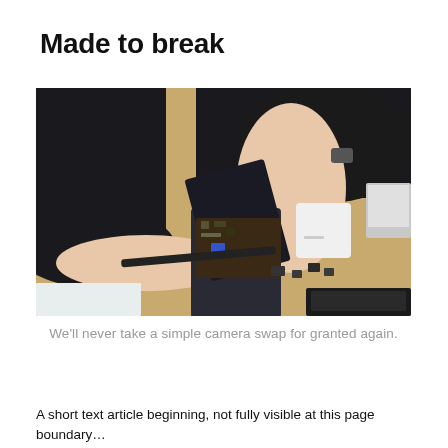Made to break
[Figure (photo): Person disassembling a smartphone on a wooden desk, with screwdriver tools and small electronic components scattered around. The person is wearing a dark sweater and working on an open phone chassis with internal components visible.]
We'll never take a simple camera swap for granted again.
A short text beginning, partially visible at bottom of page.